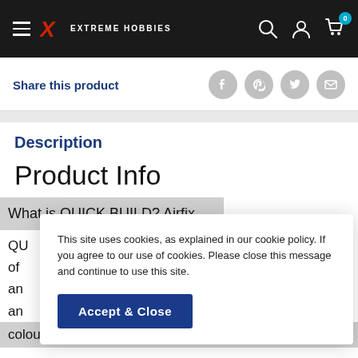Extreme Hobbies — navigation header with hamburger menu, logo, search, account, and cart icons
Share this product
[Figure (screenshot): Social share icons: Facebook, Pinterest, Twitter, Email]
Description
Product Info
What is QUICK BUILD? Airfix
QU... of ... an ... an ... coloured pieces simply push
This site uses cookies, as explained in our cookie policy. If you agree to our use of cookies. Please close this message and continue to use this site.
Accept & Close